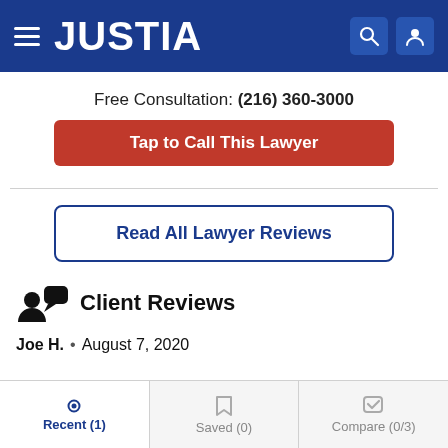JUSTIA
Free Consultation: (216) 360-3000
Tap to Call This Lawyer
Read All Lawyer Reviews
Client Reviews
Joe H. • August 7, 2020
Recent (1) | Saved (0) | Compare (0/3)